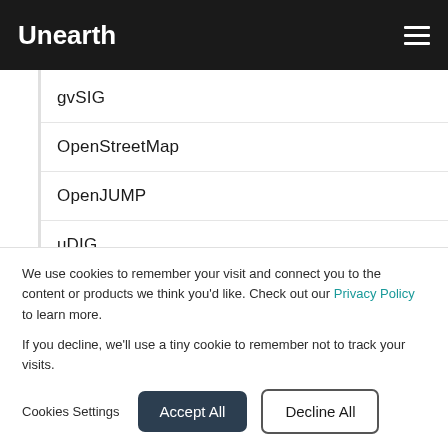Unearth
gvSIG
OpenStreetMap
OpenJUMP
uDIG
Share blog
We use cookies to remember your visit and connect you to the content or products we think you'd like. Check out our Privacy Policy to learn more.

If you decline, we'll use a tiny cookie to remember not to track your visits.
Cookies Settings  Accept All  Decline All